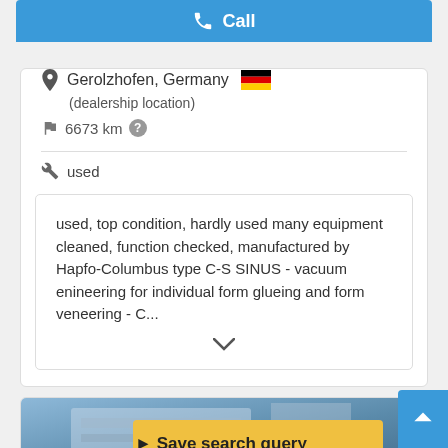Call
Gerolzhofen, Germany
(dealership location)
6673 km
used
used, top condition, hardly used many equipment cleaned, function checked, manufactured by Hapfo-Columbus type C-S SINUS - vacuum enineering for individual form glueing and form veneering - C...
[Figure (screenshot): Product image showing machinery/equipment with blue components]
Save search query